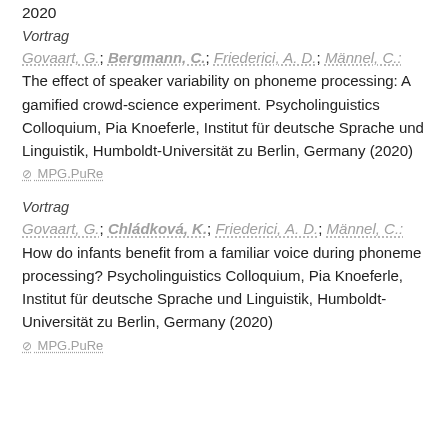2020
Vortrag
Govaart, G.; Bergmann, C.; Friederici, A. D.; Männel, C.: The effect of speaker variability on phoneme processing: A gamified crowd-science experiment. Psycholinguistics Colloquium, Pia Knoeferle, Institut für deutsche Sprache und Linguistik, Humboldt-Universität zu Berlin, Germany (2020)
MPG.PuRe
Vortrag
Govaart, G.; Chládková, K.; Friederici, A. D.; Männel, C.: How do infants benefit from a familiar voice during phoneme processing? Psycholinguistics Colloquium, Pia Knoeferle, Institut für deutsche Sprache und Linguistik, Humboldt-Universität zu Berlin, Germany (2020)
MPG.PuRe